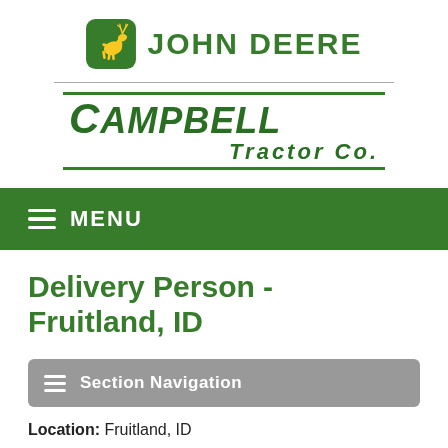[Figure (logo): John Deere logo with leaping deer in green rounded square, followed by JOHN DEERE text in green]
[Figure (logo): Campbell Tractor Co. logo in dark green italic bold text with underline]
≡ MENU
Delivery Person - Fruitland, ID
≡ Section Navigation
Location: Fruitland, ID